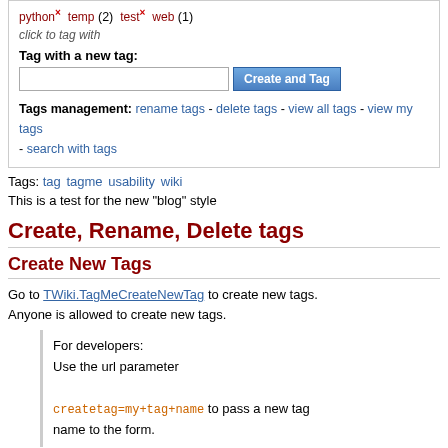python × temp (2) test × web (1)
click to tag with
Tag with a new tag:
Tags management: rename tags - delete tags - view all tags - view my tags - search with tags
Tags: tag tagme usability wiki
This is a test for the new "blog" style
Create, Rename, Delete tags
Create New Tags
Go to TWiki.TagMeCreateNewTag to create new tags. Anyone is allowed to create new tags.
For developers:
Use the url parameter
Createtag=my+tag+name to pass a new tag name to the form.